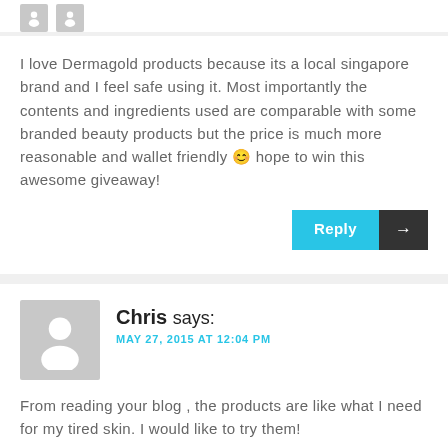[Figure (illustration): Two small grey avatar icons at top]
I love Dermagold products because its a local singapore brand and I feel safe using it. Most importantly the contents and ingredients used are comparable with some branded beauty products but the price is much more reasonable and wallet friendly 😊 hope to win this awesome giveaway!
Chris says: MAY 27, 2015 AT 12:04 PM
From reading your blog , the products are like what I need for my tired skin. I would like to try them!